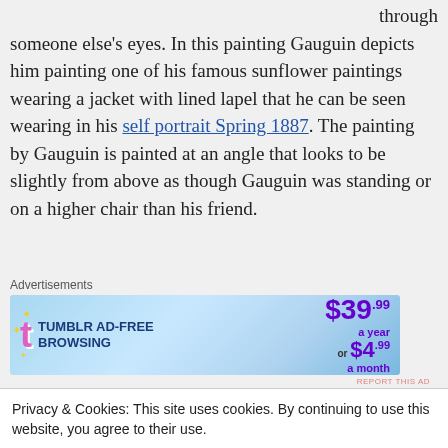through someone else's eyes. In this painting Gauguin depicts him painting one of his famous sunflower paintings wearing a jacket with lined lapel that he can be seen wearing in his self portrait Spring 1887. The painting by Gauguin is painted at an angle that looks to be slightly from above as though Gauguin was standing or on a higher chair than his friend.
[Figure (other): Tumblr Ad-Free Browsing advertisement banner. $39.99 a year or $4.99 a month.]
The painting does resemble van Gogh because we know it's
Privacy & Cookies: This site uses cookies. By continuing to use this website, you agree to their use. To find out more, including how to control cookies, see here: Cookie Policy
Pablo Picasso